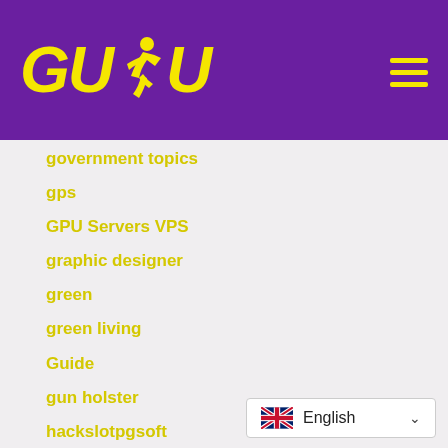[Figure (logo): GUDU logo with yellow bold italic text and a running figure silhouette on a purple header bar, with a hamburger menu icon on the right]
government topics
gps
GPU Servers VPS
graphic designer
green
green living
Guide
gun holster
hackslotpgsoft
hair loss
Hair Wig
hairywomen
[Figure (other): Language selector showing UK flag and 'English' with dropdown arrow]